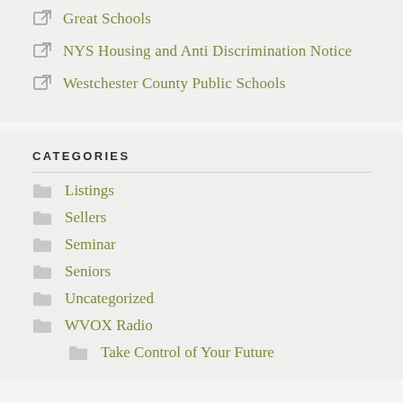Great Schools
NYS Housing and Anti Discrimination Notice
Westchester County Public Schools
CATEGORIES
Listings
Sellers
Seminar
Seniors
Uncategorized
WVOX Radio
Take Control of Your Future